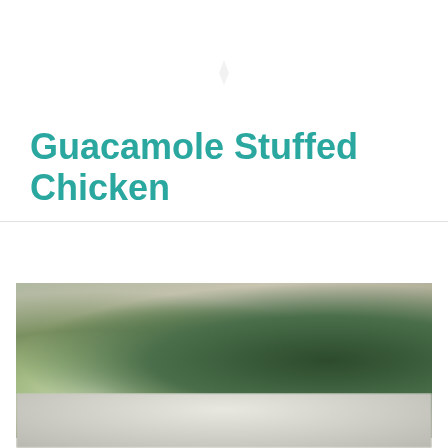Guacamole Stuffed Chicken
[Figure (photo): Close-up photo of avocado and green herbs/vegetables ingredients for guacamole stuffed chicken, with a blurred background. Bottom portion shows a blurred white surface or plate.]